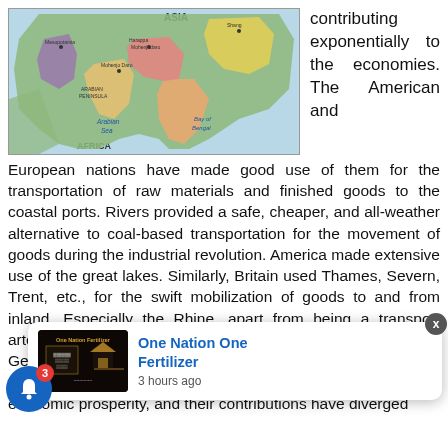[Figure (map): A map of Asia showing labeled regions including Arabian Sea, Bay of Bengal, and Africa, with colored territories indicating different regions/empires in Asia.]
contributing exponentially to the economies. The American and
European nations have made good use of them for the transportation of raw materials and finished goods to the coastal ports. Rivers provided a safe, cheaper, and all-weather alternative to coal-based transportation for the movement of goods during the industrial revolution. America made extensive use of the great lakes. Similarly, Britain used Thames, Severn, Trent, etc., for the swift mobilization of goods to and from inland. Especially the Rhine, apart from being a transport artery of Europe as it was pivotal in turning riverbank cities of Germany, France [obscured] ant hydel-[obscured] then, rivers have become an integral part of a [obscured] economic prosperity, and their contributions have diverged